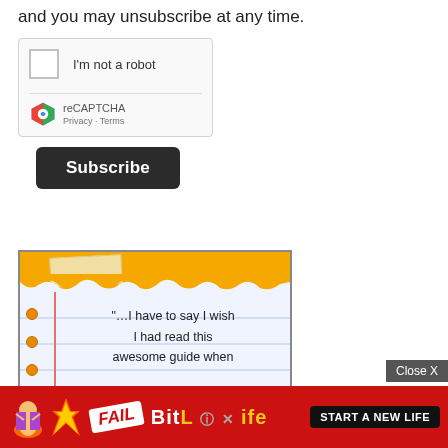and you may unsubscribe at any time.
[Figure (screenshot): reCAPTCHA widget with checkbox labeled 'I'm not a robot', reCAPTCHA logo, Privacy and Terms links]
Subscribe
[Figure (illustration): Notebook-style advertisement showing text: '"…I have to say I wish I had read this awesome guide when' with orange top border and spiral holes]
[Figure (advertisement): BitLife mobile game advertisement with FAIL badge, character illustration, flames, and 'START A NEW LIFE' button. Close X button visible.]